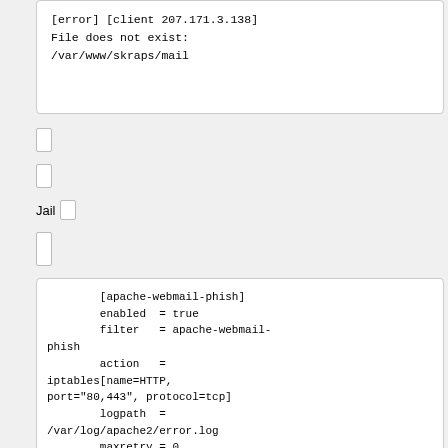[error] [client 207.171.3.138]
File does not exist:
/var/www/skraps/mail
Jail
[apache-webmail-phish]
    enabled  = true
    filter   = apache-webmail-phish
    action   = iptables[name=HTTP, port="80,443", protocol=tcp]
    logpath  = /var/log/apache2/error.log
    maxretry = 0
    bantime  = 864000
    findtime = 3600
Filter